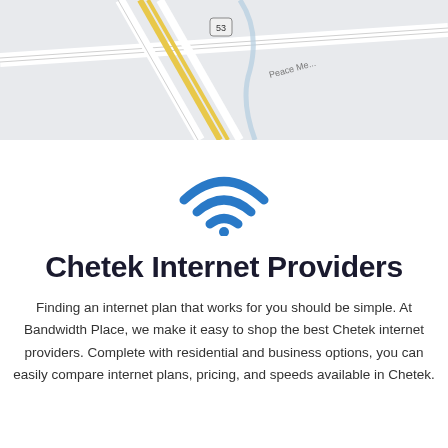[Figure (map): Street map showing area around Chetek with road 53, Peace Memorial road, route 251, and SS marker visible]
[Figure (illustration): Blue WiFi signal icon with three arcs and a dot at the bottom]
Chetek Internet Providers
Finding an internet plan that works for you should be simple. At Bandwidth Place, we make it easy to shop the best Chetek internet providers. Complete with residential and business options, you can easily compare internet plans, pricing, and speeds available in Chetek.